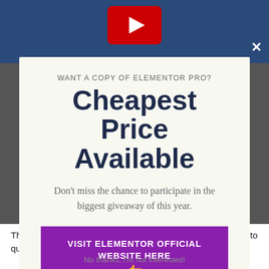[Figure (screenshot): YouTube video thumbnail with dark blue background and red YouTube play button icon]
WANT A COPY OF ELEMENTOR PRO?
Cheapest Price Available
Don't miss the chance to participate in the biggest giveaway of this year.
VISIT ELEMENTOR OFFICIAL WEBSITE HERE 👉
No thanks, I'm not interested!
That real-time sneak peek attribute implies you do not need to question what your page is going to